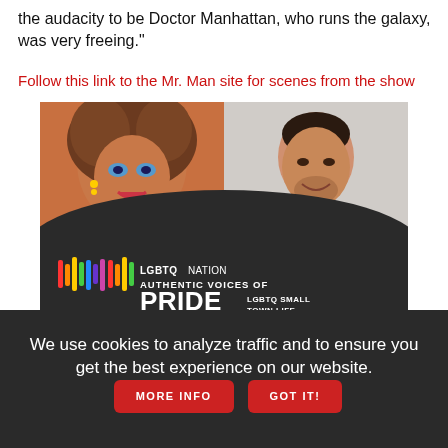the audacity to be Doctor Manhattan, who runs the galaxy, was very freeing."
Follow this link to the Mr. Man site for scenes from the show
[Figure (photo): LGBTQ Nation advertisement: 'Authentic Voices of Pride - LGBTQ Small Town Life' sponsored by Chevrolet. Shows two people on top (a person in drag makeup on left, a man on right), with a dark panel below containing the LGBTQ Nation logo, sound wave graphic, PRIDE text, Chevrolet logo, and a 'Learn More' teal button.]
We use cookies to analyze traffic and to ensure you get the best experience on our website.
MORE INFO
GOT IT!